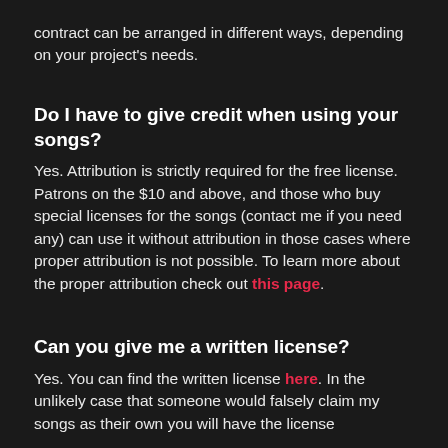contract can be arranged in different ways, depending on your project's needs.
Do I have to give credit when using your songs?
Yes. Attribution is strictly required for the free license. Patrons on the $10 and above, and those who buy special licenses for the songs (contact me if you need any) can use it without attribution in those cases where proper attribution is not possible. To learn more about the proper attribution check out this page.
Can you give me a written license?
Yes. You can find the written license here. In the unlikely case that someone would falsely claim my songs as their own you will have the license